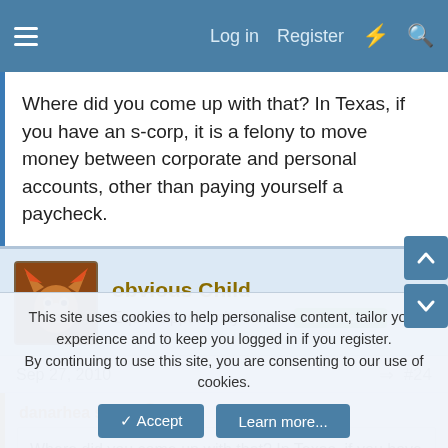Log in  Register
Where did you come up with that? In Texas, if you have an s-corp, it is a felony to move money between corporate and personal accounts, other than paying yourself a paycheck.
obvious Child
Equal Opportunity Hater  DP Veteran
Sep 27, 2010  #24
danarhea said:
Where did you come up with that? In Texas, if you have an s-corp, it is a felony to move money between corporate and personal accounts, other than paying yourself a paycheck.
This site uses cookies to help personalise content, tailor your experience and to keep you logged in if you register.
By continuing to use this site, you are consenting to our use of cookies.